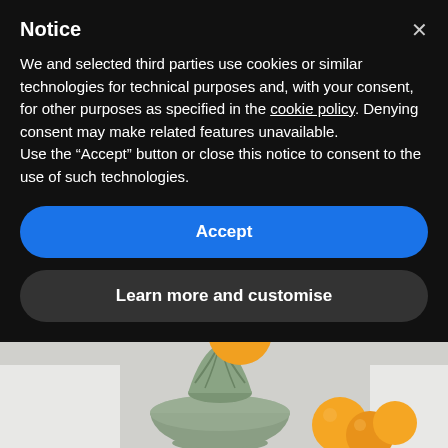Notice
We and selected third parties use cookies or similar technologies for technical purposes and, with your consent, for other purposes as specified in the cookie policy. Denying consent may make related features unavailable.
Use the “Accept” button or close this notice to consent to the use of such technologies.
Accept
Learn more and customise
[Figure (photo): Photo of a sage green citrus juicer with an orange on top, and additional oranges in the background on a light grey surface.]